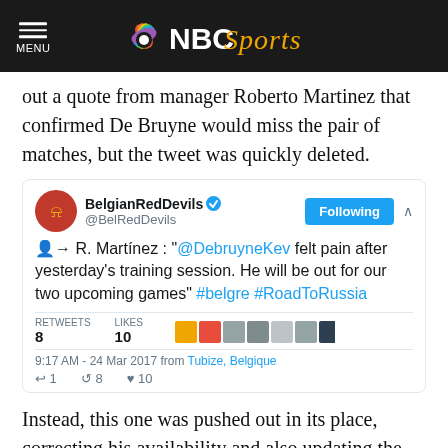NBC Sports
out a quote from manager Roberto Martinez that confirmed De Bruyne would miss the pair of matches, but the tweet was quickly deleted.
[Figure (screenshot): Embedded tweet from @BelRedDevils (Belgian Red Devils) stating: R. Martínez: "@DebruyneKev felt pain after yesterday's training session. He will be out for our two upcoming games" #belgre #RoadToRussia. Posted 9:17 AM - 24 Mar 2017 from Tubize, Belgique. 8 Retweets, 10 Likes.]
Instead, this one was pushed out in its place, correcting his availability and also updating the type of injury:
RECTIFICATION: @DeBruyneKev is